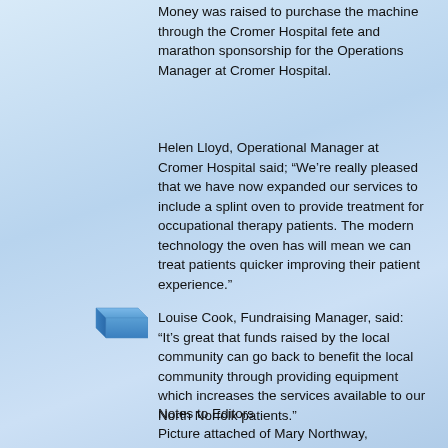Money was raised to purchase the machine through the Cromer Hospital fete and marathon sponsorship for the Operations Manager at Cromer Hospital.
Helen Lloyd, Operational Manager at Cromer Hospital said; “We’re really pleased that we have now expanded our services to include a splint oven to provide treatment for occupational therapy patients. The modern technology the oven has will mean we can treat patients quicker improving their patient experience.”
[Figure (illustration): Small blue 3D icon of a tray or box, possibly representing a splint oven or medical equipment]
Louise Cook, Fundraising Manager, said: “It’s great that funds raised by the local community can go back to benefit the local community through providing equipment which increases the services available to our North Norfolk patients.”
Notes to Editors
Picture attached of Mary Northway, Chairperson of the Cromer Community and